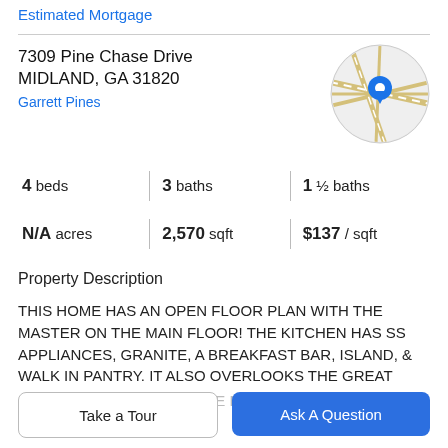Estimated Mortgage
7309 Pine Chase Drive
MIDLAND, GA 31820
Garrett Pines
[Figure (map): Circular map thumbnail showing street map with a blue location pin marker in the center]
4 beds  |  3 baths  |  1 ½ baths
N/A acres  |  2,570 sqft  |  $137 / sqft
Property Description
THIS HOME HAS AN OPEN FLOOR PLAN WITH THE MASTER ON THE MAIN FLOOR! THE KITCHEN HAS SS APPLIANCES, GRANITE, A BREAKFAST BAR, ISLAND, & WALK IN PANTRY. IT ALSO OVERLOOKS THE GREAT
ROOM W/ A FIREPLACE. THE MASTER IS SPACIOUS
Take a Tour
Ask A Question